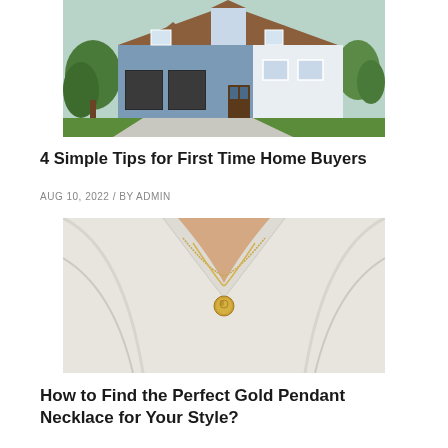[Figure (photo): Exterior photo of a blue and white craftsman-style house with double garage, green trees, and wide driveway]
4 Simple Tips for First Time Home Buyers
AUG 10, 2022 / BY ADMIN
[Figure (photo): Close-up photo of a person wearing a white blouse and a gold coin pendant necklace with delicate chain]
How to Find the Perfect Gold Pendant Necklace for Your Style?